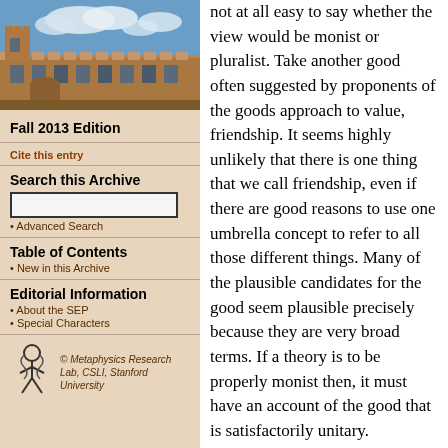[Figure (photo): Photograph of a historic university building (sandstone architecture) with blue sky and clouds]
Fall 2013 Edition
Cite this entry
Search this Archive
Advanced Search
Table of Contents
New in this Archive
Editorial Information
About the SEP
Special Characters
[Figure (logo): Metaphysics Research Lab logo with stylized figure]
© Metaphysics Research Lab, CSLI, Stanford University
not at all easy to say whether the view would be monist or pluralist. Take another good often suggested by proponents of the goods approach to value, friendship. It seems highly unlikely that there is one thing that we call friendship, even if there are good reasons to use one umbrella concept to refer to all those different things. Many of the plausible candidates for the good seem plausible precisely because they are very broad terms. If a theory is to be properly monist then, it must have an account of the good that is satisfactorily unitary.

The problem applies to the deontological approach to value